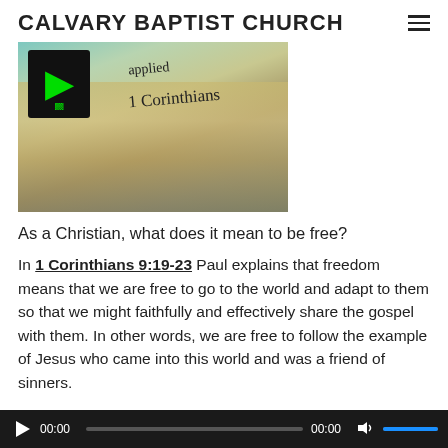CALVARY BAPTIST CHURCH
[Figure (photo): A street scene with a pedestrian walk signal, buildings, and handwritten overlay text reading 'applied' and '1 Corinthians']
As a Christian, what does it mean to be free?
In 1 Corinthians 9:19-23 Paul explains that freedom means that we are free to go to the world and adapt to them so that we might faithfully and effectively share the gospel with them. In other words, we are free to follow the example of Jesus who came into this world and was a friend of sinners.
[Figure (other): Audio player control bar with play button, time display 00:00, progress bar, end time 00:00, volume icon, and volume bar]